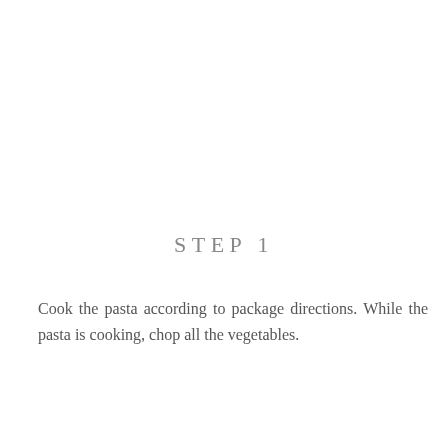STEP 1
Cook the pasta according to package directions. While the pasta is cooking, chop all the vegetables.